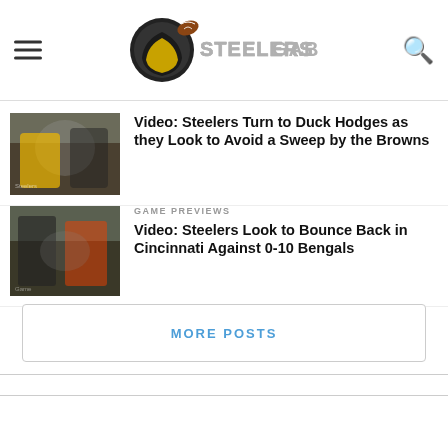Steelers Gab
[Figure (photo): Football players in action, Steelers game]
Video: Steelers Turn to Duck Hodges as they Look to Avoid a Sweep by the Browns
GAME PREVIEWS
[Figure (photo): Football players at line of scrimmage, Steelers vs Bengals]
Video: Steelers Look to Bounce Back in Cincinnati Against 0-10 Bengals
MORE POSTS